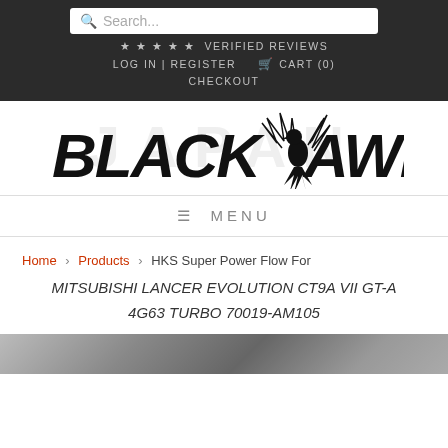Search... ★★★★★ VERIFIED REVIEWS  LOG IN | REGISTER  🛒 CART (0)  CHECKOUT
[Figure (logo): Black Hawk Japan logo with stylized hawk graphic and italic bold text reading BLACK HAWK, with watermark text JAPAN in background]
≡  MENU
Home › Products › HKS Super Power Flow For MITSUBISHI LANCER EVOLUTION CT9A VII GT-A 4G63 TURBO 70019-AM105
[Figure (photo): Partial product image strip at bottom of page]